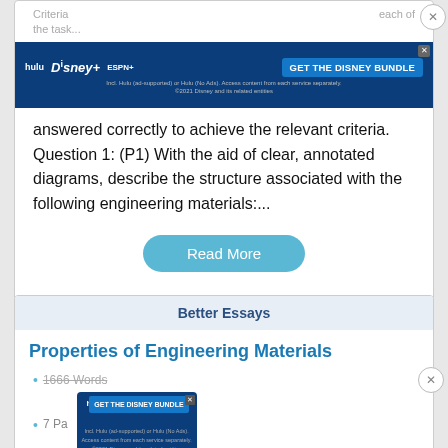[Figure (screenshot): Disney Bundle ad banner at top of page]
Criteria ... each of the task...
answered correctly to achieve the relevant criteria. Question 1: (P1) With the aid of clear, annotated diagrams, describe the structure associated with the following engineering materials:...
Read More
Better Essays
Properties of Engineering Materials
1666 Words
7 Pages
Engineering ... machine element depends very much on its properties, cost,
[Figure (screenshot): Disney Bundle ad banner at bottom of page]